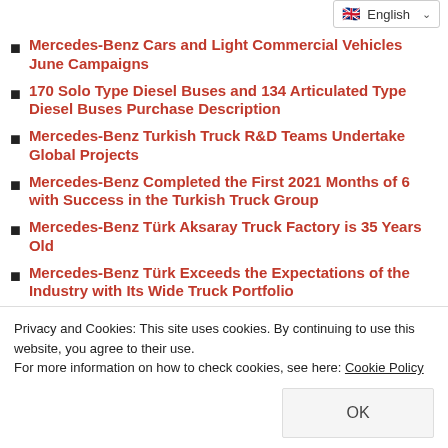Mercedes-Benz Cars and Light Commercial Vehicles June Campaigns
170 Solo Type Diesel Buses and 134 Articulated Type Diesel Buses Purchase Description
Mercedes-Benz Turkish Truck R&D Teams Undertake Global Projects
Mercedes-Benz Completed the First 2021 Months of 6 with Success in the Turkish Truck Group
Mercedes-Benz Türk Aksaray Truck Factory is 35 Years Old
Mercedes-Benz Türk Exceeds the Expectations of the Industry with Its Wide Truck Portfolio
Privacy and Cookies: This site uses cookies. By continuing to use this website, you agree to their use.
For more information on how to check cookies, see here: Cookie Policy
Convenient Service Campaigns